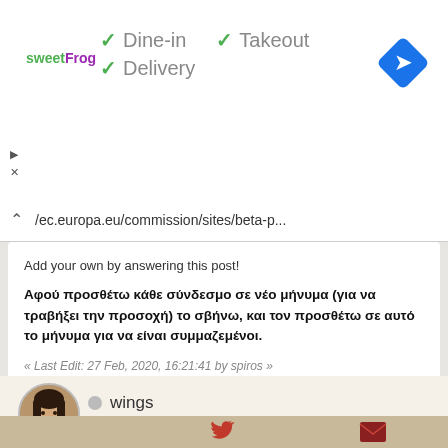[Figure (screenshot): Ad banner for sweetFrog showing Dine-in, Takeout, and Delivery checkmarks, with a navigation arrow icon on the right]
✓ Dine-in ✓ Takeout ✓ Delivery
/ec.europa.eu/commission/sites/beta-p...
Add your own by answering this post!
Αφού προσθέτω κάθε σύνδεσμο σε νέο μήνυμα (για να τραβήξει την προσοχή) το σβήνω, και τον προσθέτω σε αυτό το μήνυμα για να είναι συμμαζεμένοι.
« Last Edit: 27 Feb, 2020, 16:21:41 by spiros »
[Figure (screenshot): User profile section with circular avatar photo of a woman with dark hair, gray offline dot, and username 'wings']
[Figure (screenshot): Social sharing footer bar with Facebook, Twitter, and email icons on a tan/brown background]